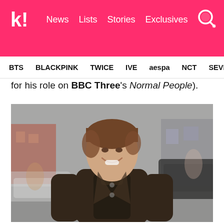Koreaboo — News | Lists | Stories | Exclusives
BTS   BLACKPINK   TWICE   IVE   aespa   NCT   SEVE
for his role on BBC Three's Normal People).
[Figure (photo): Young smiling man with brown hair wearing a dark leather jacket, standing on a street with blurred urban background including cars and buildings.]